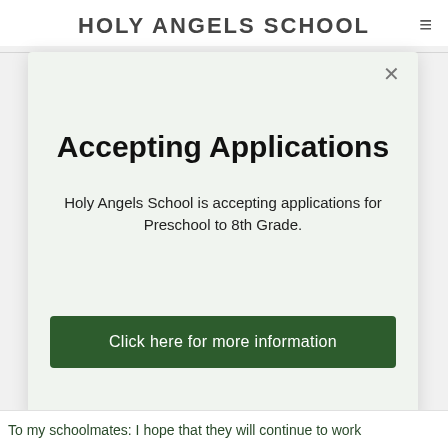HOLY ANGELS SCHOOL
Accepting Applications
Holy Angels School is accepting applications for Preschool to 8th Grade.
Click here for more information
To my schoolmates: I hope that they will continue to work